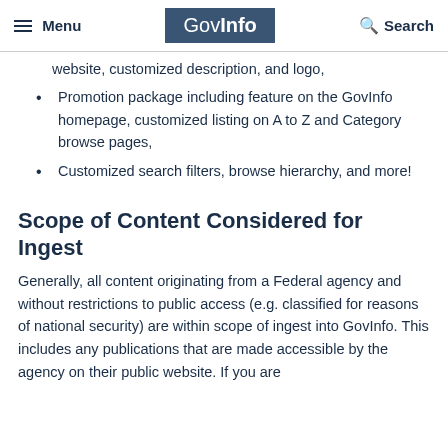Menu | GovInfo | Search
website, customized description, and logo,
Promotion package including feature on the GovInfo homepage, customized listing on A to Z and Category browse pages,
Customized search filters, browse hierarchy, and more!
Scope of Content Considered for Ingest
Generally, all content originating from a Federal agency and without restrictions to public access (e.g. classified for reasons of national security) are within scope of ingest into GovInfo. This includes any publications that are made accessible by the agency on their public website. If you are